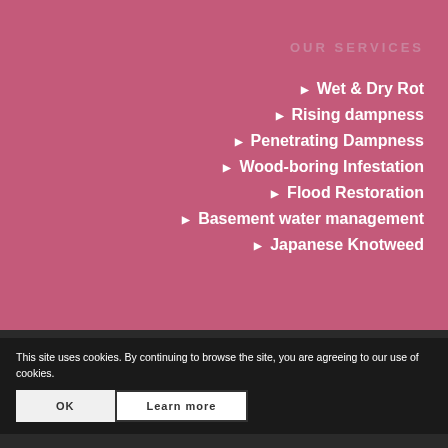OUR SERVICES
Wet & Dry Rot
Rising dampness
Penetrating Dampness
Wood-boring Infestation
Flood Restoration
Basement water management
Japanese Knotweed
© Copyright The Preservation Company of Scotland Ltd. All rights reserved. 995 5130 88 | Directory address: Kinburn Castle, St Andrews, KY16 9DR | Website designed by Blinkered and G.R...
This site uses cookies. By continuing to browse the site, you are agreeing to our use of cookies.